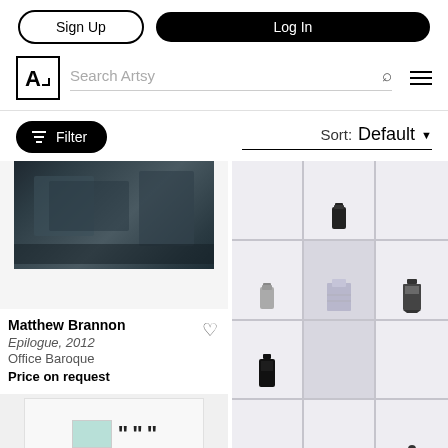Sign Up | Log In
Search Artsy
Filter  Sort: Default
[Figure (photo): Dark abstract artwork, partially visible at top]
Matthew Brannon
Epilogue, 2012
Office Baroque
Price on request
[Figure (photo): Second artwork preview with comma punctuation marks visible]
[Figure (photo): Right column: photo of a grid shelf display with various small perfume or ink bottle objects arranged on it]